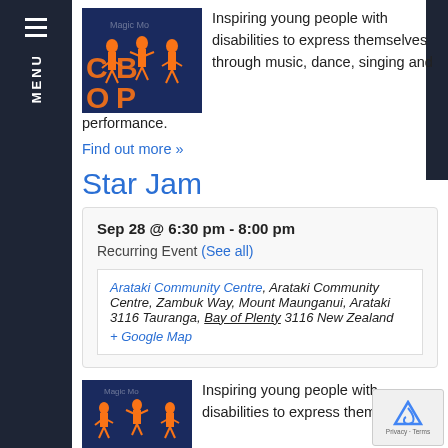[Figure (logo): CBOP logo with orange letters over a photo of dancers in orange shirts on a dark stage]
Inspiring young people with disabilities to express themselves through music, dance, singing and performance.
Find out more »
Star Jam
Sep 28 @ 6:30 pm - 8:00 pm
Recurring Event (See all)
Arataki Community Centre, Arataki Community Centre, Zambuk Way, Mount Maunganui, Arataki 3116 Tauranga, Bay of Plenty 3116 New Zealand + Google Map
[Figure (photo): Photo of dancers in orange shirts on a dark stage with 'Magic Mo' text watermark]
Inspiring young people with disabilities to express themselves...